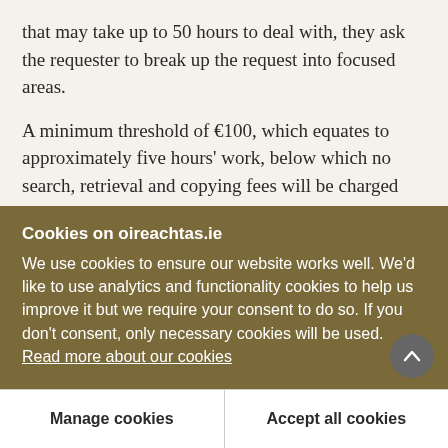that may take up to 50 hours to deal with, they ask the requester to break up the request into focused areas.
A minimum threshold of €100, which equates to approximately five hours' work, below which no search, retrieval and copying fees will be charged will be introduced. In other words, there is no application fee and up to five hours of FOI search and retrieval work will be done for free. The provision relating to deposits will be retained. The Bill will introduce a
Cookies on oireachtas.ie
We use cookies to ensure our website works well. We'd like to use analytics and functionality cookies to help us improve it but we require your consent to do so. If you don't consent, only necessary cookies will be used. Read more about our cookies
Manage cookies
Accept all cookies